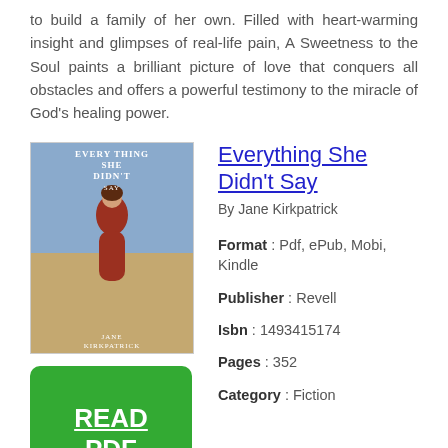to build a family of her own. Filled with heart-warming insight and glimpses of real-life pain, A Sweetness to the Soul paints a brilliant picture of love that conquers all obstacles and offers a powerful testimony to the miracle of God's healing power.
Everything She Didn't Say
By Jane Kirkpatrick
[Figure (illustration): Book cover of 'Everything She Didn't Say' by Jane Kirkpatrick, showing a woman in a red dress against a landscape background]
[Figure (other): Green button with 'READ PDF' text in white underlined]
Format : Pdf, ePub, Mobi, Kindle
Publisher : Revell
Isbn : 1493415174
Pages : 352
Category : Fiction